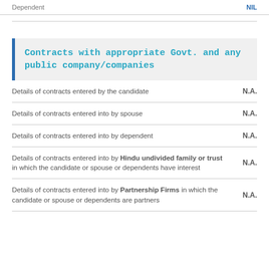| Item | Value |
| --- | --- |
| Dependent | NIL |
Contracts with appropriate Govt. and any public company/companies
| Description | Value |
| --- | --- |
| Details of contracts entered by the candidate | N.A. |
| Details of contracts entered into by spouse | N.A. |
| Details of contracts entered into by dependent | N.A. |
| Details of contracts entered into by Hindu undivided family or trust in which the candidate or spouse or dependents have interest | N.A. |
| Details of contracts entered into by Partnership Firms in which the candidate or spouse or dependents are partners | N.A. |